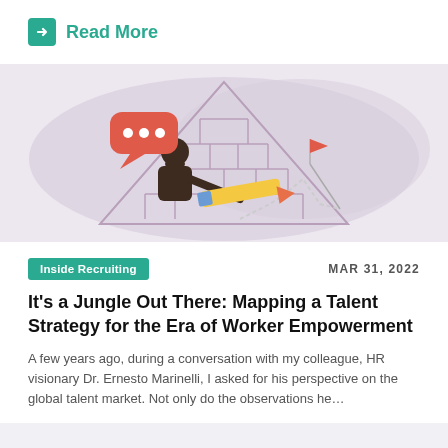Read More
[Figure (illustration): Illustration of a person holding a large pencil, drawing a path through a maze shaped like a triangle, with a speech bubble and a flag at the top right of the maze, on a mauve/grey organic blob background.]
Inside Recruiting
MAR 31, 2022
It's a Jungle Out There: Mapping a Talent Strategy for the Era of Worker Empowerment
A few years ago, during a conversation with my colleague, HR visionary Dr. Ernesto Marinelli, I asked for his perspective on the global talent market. Not only do the observations he...